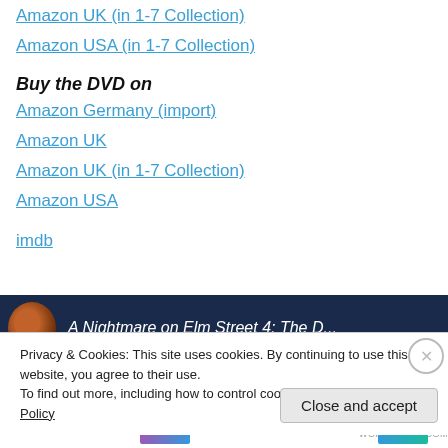Amazon UK (in 1-7 Collection)
Amazon USA (in 1-7 Collection)
Buy the DVD on
Amazon Germany (import)
Amazon UK
Amazon UK (in 1-7 Collection)
Amazon USA
imdb
[Figure (screenshot): Partial screenshot of a movie page for 'A Nightmare on Elm Street 4: The D...' on a dark blue background]
Privacy & Cookies: This site uses cookies. By continuing to use this website, you agree to their use. To find out more, including how to control cookies, see here: Cookie Policy
Close and accept